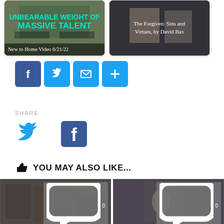[Figure (photo): Movie thumbnail: Unbearable Weight of Massive Talent, New to Home Video 6/21/22]
[Figure (photo): Movie thumbnail: The Forgiven: Sins and Virtues, by David Bax]
[Figure (infographic): Social share buttons: Facebook, Twitter, Email, Share+]
SHARE
[Figure (infographic): Large social icons: Twitter bird and Facebook logo]
YOU MAY ALSO LIKE...
[Figure (photo): Bottom thumbnail left: two men in a room, comment badge showing 0]
[Figure (photo): Bottom thumbnail right: man in athletic wear, comment badge showing 0]